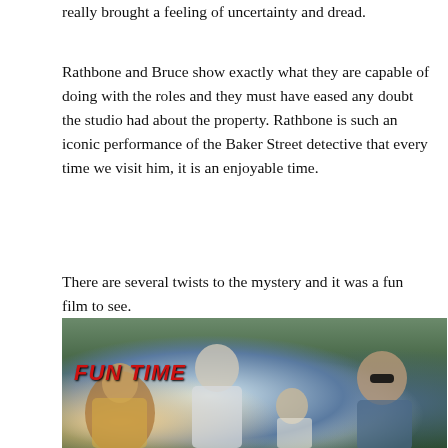really brought a feeling of uncertainty and dread.
Rathbone and Bruce show exactly what they are capable of doing with the roles and they must have eased any doubt the studio had about the property. Rathbone is such an iconic performance of the Baker Street detective that every time we visit him, it is an enjoyable time.
There are several twists to the mystery and it was a fun film to see.
[Figure (photo): Photo of four boys/teenagers sitting outdoors in front of trees/wooden structure. The boy on the left wears a colorful floral jacket. The second boy wears a white and blue sweatshirt. The third, smaller boy is in the front center. The boy on the right has dark curly hair and sunglasses wearing a denim jacket. A red bold italic text overlay reads 'FUN TIME' in the upper left of the image.]